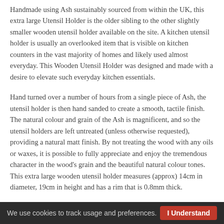Handmade using Ash sustainably sourced from within the UK, this extra large Utensil Holder is the older sibling to the other slightly smaller wooden utensil holder available on the site. A kitchen utensil holder is usually an overlooked item that is visible on kitchen counters in the vast majority of homes and likely used almost everyday. This Wooden Utensil Holder was designed and made with a desire to elevate such everyday kitchen essentials.
Hand turned over a number of hours from a single piece of Ash, the utensil holder is then hand sanded to create a smooth, tactile finish. The natural colour and grain of the Ash is magnificent, and so the utensil holders are left untreated (unless otherwise requested), providing a natural matt finish. By not treating the wood with any oils or waxes, it is possible to fully appreciate and enjoy the tremendous character in the wood's grain and the beautiful natural colour tones. This extra large wooden utensil holder measures (approx) 14cm in diameter, 19cm in height and has a rim that is 0.8mm thick.
The beauty of this handcrafted item eliminates the need to hide your utensil holder out of sight as a necessary but ugly object and instead means you can place it front and centre on your kitchen worktop as a
We use cookies to track usage and preferences.  I Understand